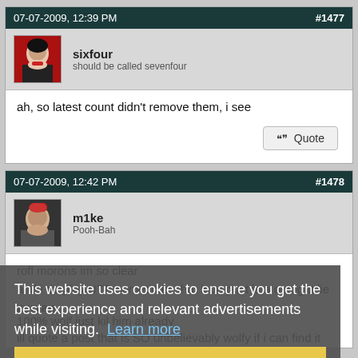07-07-2009, 12:39 PM   #1477
sixfour
should be called sevenfour
ah, so latest count didn't remove them, i see
07-07-2009, 12:42 PM   #1478
m1ke
Pooh-Bah
rofl morons im so clear
and i do play UTR sometimes that icon post is a outright lie
zurvan
100% wolf just kil him already
ill quote a post that is SO unbelievably wolfy if i can find it
This website uses cookies to ensure you get the best experience and relevant advertisements while visiting. Learn more
Got it!